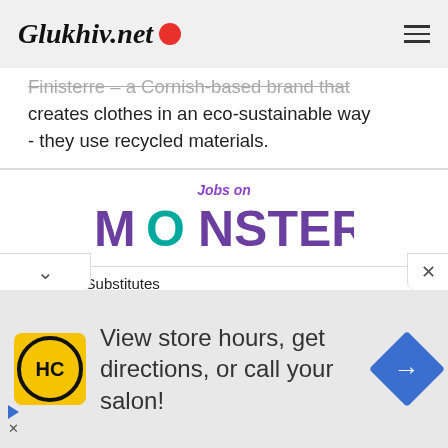Glukhiv.net
Finisterre – a Cornish-based brand that creates clothes in an eco-sustainable way - they use recycled materials.
[Figure (logo): Jobs on Monster logo — 'Jobs on' in purple italic text above large 'MONSTER' text with teal O]
Building Substitutes
Boquet Valley Csd, Wadhams, New Yo
PART-TIME CASHIER
Aldi Inc., Eden Prairie, M
Account Manager
[Figure (infographic): Advertisement banner: HC logo (yellow background, black circle with HC text), 'View store hours, get directions, or call your salon!' text, blue diamond navigation arrow icon]